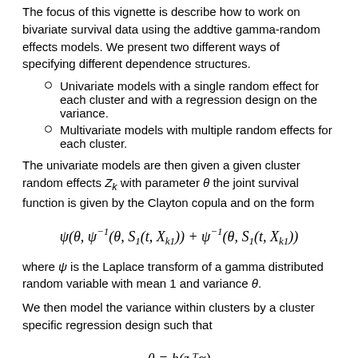The focus of this vignette is describe how to work on bivariate survival data using the addtive gamma-random effects models. We present two different ways of specifying different dependence structures.
Univariate models with a single random effect for each cluster and with a regression design on the variance.
Multivariate models with multiple random effects for each cluster.
The univariate models are then given a given cluster random effects Z_k with parameter θ the joint survival function is given by the Clayton copula and on the form
where ψ is the Laplace transform of a gamma distributed random variable with mean 1 and variance θ.
We then model the variance within clusters by a cluster specific regression design such that
where z is the regression design (specified by theta.des in the software), and h is link function, that is either exp or the